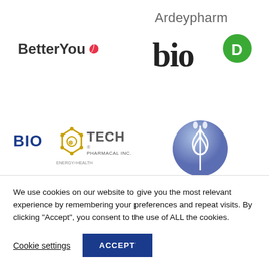[Figure (logo): Ardeypharm text logo in gray sans-serif font]
[Figure (logo): BetterYou logo with red heart/leaf icon]
[Figure (logo): bioD logo with green circle D]
[Figure (logo): Bio Tech Pharmacal Inc logo with hexagonal atom graphic and ENERGY=HEALTH tagline]
[Figure (logo): Bio-Botanical Research Inc. logo with globe and caduceus symbol]
[Figure (logo): BioPure logo with registered trademark and wave graphic]
[Figure (logo): ClearZal logo partially visible]
We use cookies on our website to give you the most relevant experience by remembering your preferences and repeat visits. By clicking "Accept", you consent to the use of ALL the cookies.
Cookie settings
ACCEPT